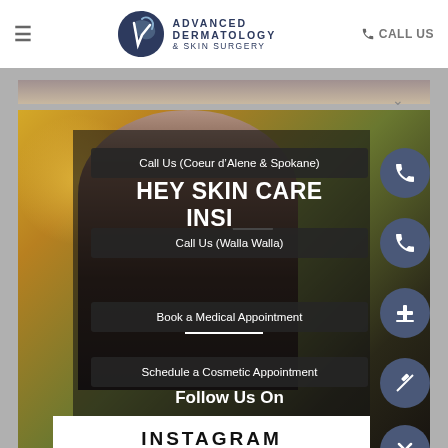ADVANCED DERMATOLOGY & SKIN SURGERY
CALL US
[Figure (screenshot): Mobile website screenshot showing Advanced Dermatology & Skin Surgery navigation menu expanded with options: Call Us (Coeur d'Alene & Spokane), Call Us (Walla Walla), Book a Medical Appointment, Schedule a Cosmetic Appointment, Follow Us On, INSTAGRAM. Background shows a man with a beard in autumn setting.]
Call Us (Coeur d'Alene & Spokane)
HEY SKIN CARE INSI___
Call Us (Walla Walla)
Book a Medical Appointment
Schedule a Cosmetic Appointment
Follow Us On
INSTAGRAM